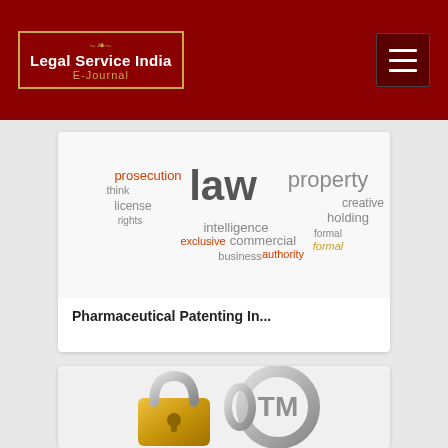Legal Service India E-Journal
[Figure (illustration): Word cloud with legal/IP terms: law, property, prosecution, license, rights, intelligence, exclusive, commercial, business, holding, authority, formal, creative, think]
Pharmaceutical Patenting In...
[Figure (photo): Photo of a gold padlock linked through a silver ring with TM (trademark) symbol, representing trademark protection/security]